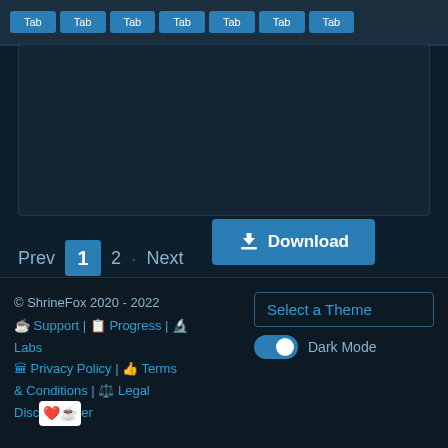[Figure (screenshot): Navigation tab bar with multiple blue tab buttons at the top]
[Figure (screenshot): Download button (blue) with download icon on right side of card area]
Prev  1  2  Next
© ShrineFox 2020 - 2022
☕ Support | 📋 Progress | 🔬 Labs
🏛 Privacy Policy | 👍 Terms & Conditions | ⚖ Legal Disclaimer
Select a Theme
Dark Mode